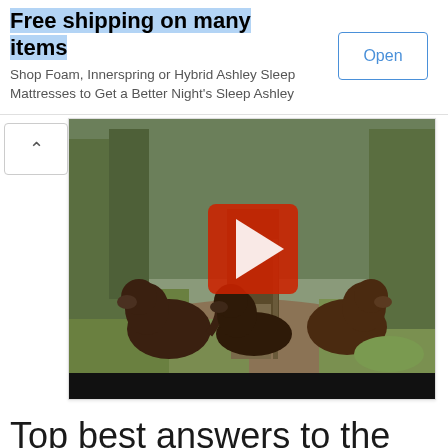Free shipping on many items
Shop Foam, Innerspring or Hybrid Ashley Sleep Mattresses to Get a Better Night's Sleep Ashley
Open
[Figure (screenshot): A person standing outdoors on a woodland path with three chocolate Labrador dogs. The person is wearing boots and carrying a walking stick. A YouTube-style red play button overlay appears in the center of the image. Below the image is a black video progress bar.]
Top best answers to the question «Are labs